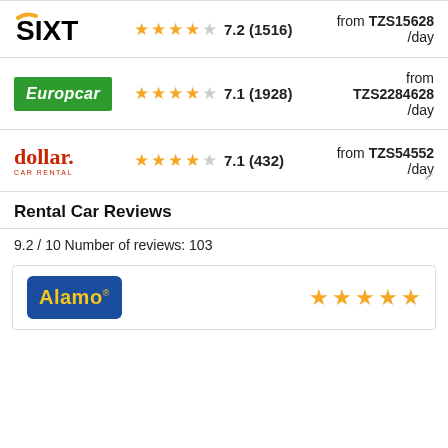[Figure (logo): SIXT car rental logo with orange swish]
★★★★☆ 7.2 (1516)
from TZS15628 /day
[Figure (logo): Europcar logo green background white italic text]
★★★★☆ 7.1 (1928)
from TZS2284628 /day
[Figure (logo): Dollar Car Rental logo red text]
★★★★☆ 7.1 (432)
from TZS54552 /day
Rental Car Reviews
9.2 / 10 Number of reviews: 103
[Figure (logo): Alamo car rental logo blue rounded rectangle with yellow text]
★★★★★